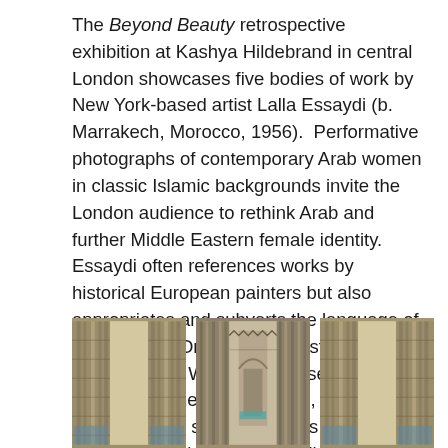The Beyond Beauty retrospective exhibition at Kashya Hildebrand in central London showcases five bodies of work by New York-based artist Lalla Essaydi (b. Marrakech, Morocco, 1956).  Performative photographs of contemporary Arab women in classic Islamic backgrounds invite the London audience to rethink Arab and further Middle Eastern female identity. Essaydi often references works by historical European painters but also appropriates and subverts the language of 19th century Orientalism whilst dropping its long-standing Western male sexualised fantasies of the Muslim world, especially of its women. As such, Essaydi's photographs serve as a critique of Orientalism and by default of the West, yet they also hold a looking glass into Arab/Middle Eastern society itself.
[Figure (photo): Three photographs showing Islamic architectural interior with ornate columns and decorative details, partially visible at the bottom of the page.]